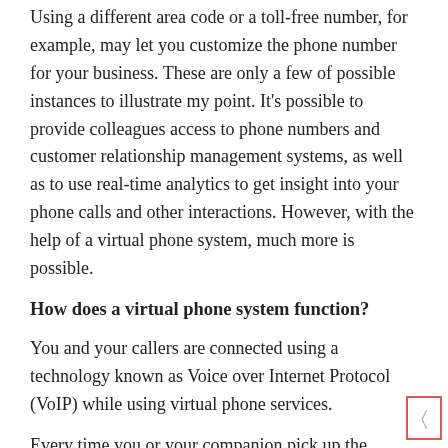Using a different area code or a toll-free number, for example, may let you customize the phone number for your business. These are only a few of possible instances to illustrate my point. It's possible to provide colleagues access to phone numbers and customer relationship management systems, as well as to use real-time analytics to get insight into your phone calls and other interactions. However, with the help of a virtual phone system, much more is possible.
How does a virtual phone system function?
You and your callers are connected using a technology known as Voice over Internet Protocol (VoIP) while using virtual phone services.
Every time you or your companion pick up the phone, the conversation you're having is converted to digital speech data. Data is initially divided into smaller and smaller units called